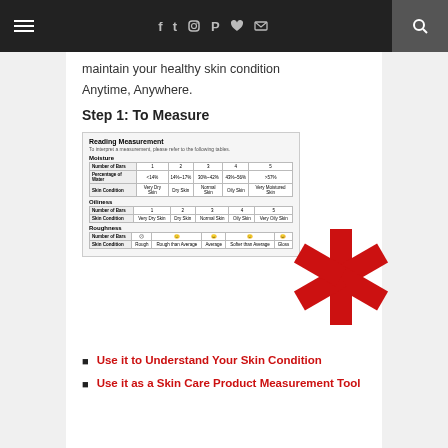Navigation bar with hamburger menu, social icons (f, t, instagram, p, heart, mail), and search
maintain your healthy skin condition
Anytime, Anywhere.
Step 1: To Measure
[Figure (table-as-image): Reading Measurement table showing moisture, oiliness, and roughness skin condition scales with number of bars and corresponding skin condition labels]
Use it to Understand Your Skin Condition
Use it as a Skin Care Product Measurement Tool